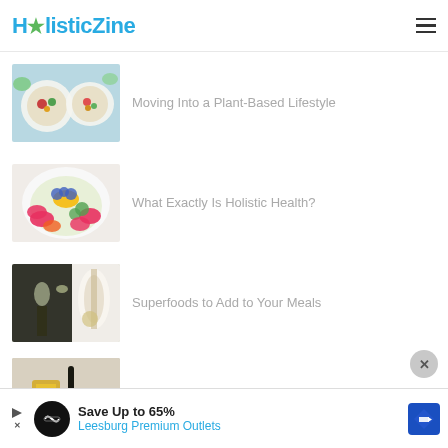HolisticZine
[Figure (photo): Top-down photo of colorful salad bowls with vegetables on light blue background]
Moving Into a Plant-Based Lifestyle
[Figure (photo): Top-down photo of fruit bowl with strawberries, blueberries, mango, and other colorful fruits]
What Exactly Is Holistic Health?
[Figure (photo): Photo of herbal tincture bottle with dropper, spoon, and glass on white background with herbs]
Superfoods to Add to Your Meals
[Figure (photo): Photo of herbs, dark bottle, and honey in jar on marble/gray background]
Healing Herbs to Boost Your Libido
Save Up to 65% Leesburg Premium Outlets